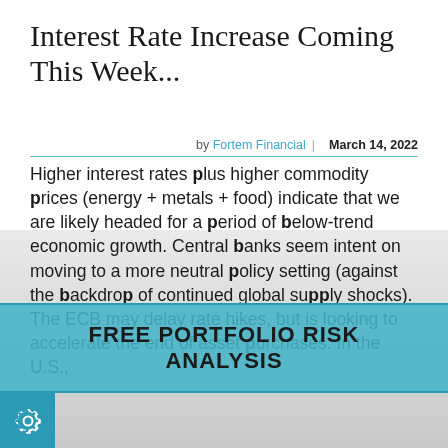Interest Rate Increase Coming This Week...
by Fortem Financial | March 14, 2022
Higher interest rates plus higher commodity prices (energy + metals + food) indicate that we are likely headed for a period of below-trend economic growth. Central banks seem intent on moving to a more neutral policy setting (against the backdrop of continued global supply shocks). The ECB may delay rate hikes, but is looking to accelerate the end of asset purchases. In the U.S., the CPI surged +0.8% month-over-month and 7.9%...
FREE PORTFOLIO RISK ANALYSIS